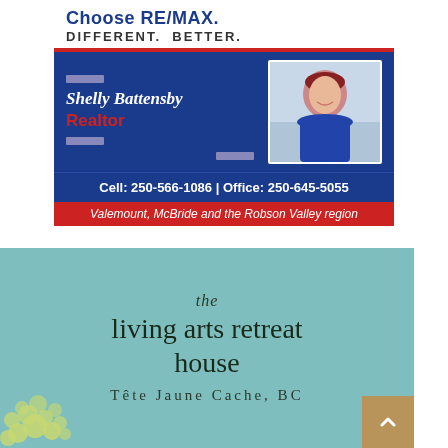[Figure (advertisement): RE/MAX real estate advertisement for Shelly Battensby, Realtor. Blue background with white and red accents. Shows name, title, phone numbers (Cell: 250-566-1086, Office: 250-645-5055), and service area (Valemount, McBride and the Robson Valley region). Includes a photo of the realtor.]
[Figure (advertisement): The Living Arts Retreat House advertisement on a teal/muted green background. Text reads 'the living arts retreat house' in serif font, with 'Tête Jaune Cache, BC' below in spaced lettering. Decorative floral/organic shapes in light green at bottom left.]